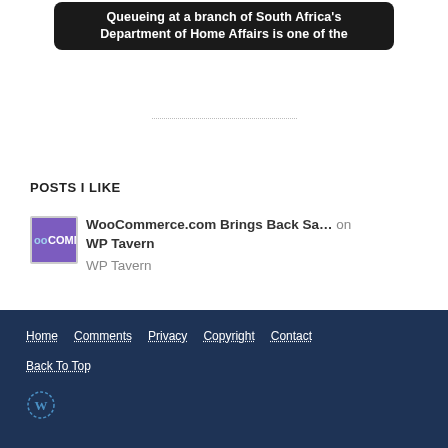[Figure (photo): A dark rounded box with white bold text: 'Queueing at a branch of South Africa's Department of Home Affairs is one of the']
POSTS I LIKE
[Figure (logo): WooCommerce logo thumbnail, purple background with 'ooComme' text visible]
WooCommerce.com Brings Back Sa… on WP Tavern
Home   Comments   Privacy   Copyright   Contact   Back To Top